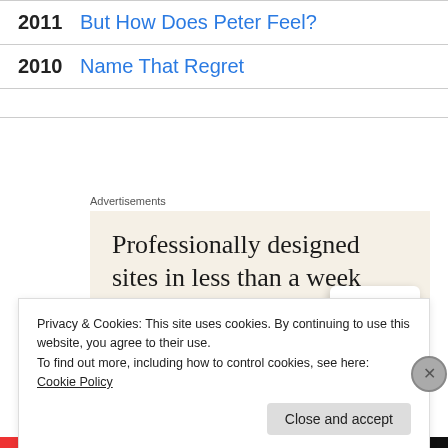2011  But How Does Peter Feel?
2010  Name That Regret
Advertisements
[Figure (illustration): Advertisement banner with text 'Professionally designed sites in less than a week' on a cream/beige background with a letter A card design element and a green bar at the bottom.]
Privacy & Cookies: This site uses cookies. By continuing to use this website, you agree to their use.
To find out more, including how to control cookies, see here: Cookie Policy